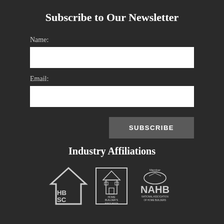Subscribe to Our Newsletter
Name:
Email:
SUBSCRIBE
Industry Affiliations
[Figure (logo): Three industry affiliation logos: HBSC (Home Builders of SC), Home Builders Association, and NAHB (National Association of Home Builders)]